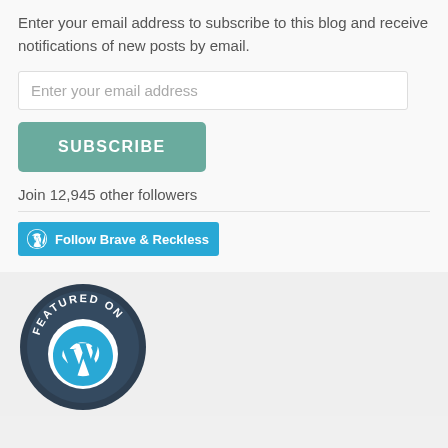Enter your email address to subscribe to this blog and receive notifications of new posts by email.
Enter your email address
SUBSCRIBE
Join 12,945 other followers
[Figure (other): WordPress Follow button — blue rounded rectangle with WordPress icon and text 'Follow Brave & Reckless']
[Figure (other): Circular badge with dark navy background reading 'FEATURED ON' around the top arc and a WordPress logo (W) in the center]